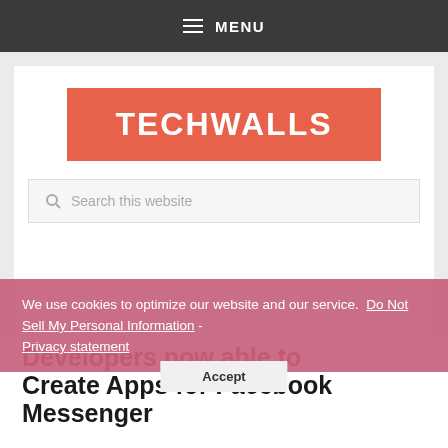MENU
[Figure (logo): TECHWALLS logo — white bold text on coral/salmon orange background]
Search this website
We use cookies to optimize our website and our service.  Do Not Sell My Personal Information - Privacy statement
Accept
Developers now able to Create Apps for Facebook Messenger